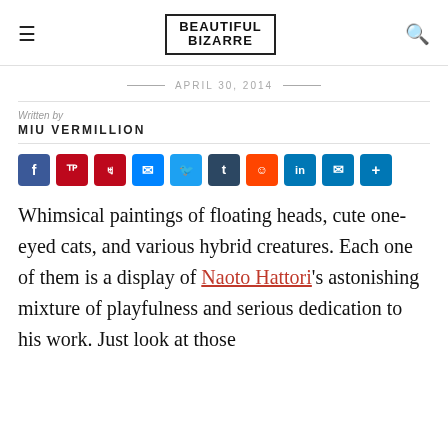BEAUTIFUL BIZARRE
APRIL 30, 2014
Written by
MIU VERMILLION
[Figure (infographic): Social share buttons: Facebook, Pinterest, Messenger, Twitter, Tumblr, Reddit, LinkedIn, Email, Share]
Whimsical paintings of floating heads, cute one-eyed cats, and various hybrid creatures. Each one of them is a display of Naoto Hattori's astonishing mixture of playfulness and serious dedication to his work. Just look at those